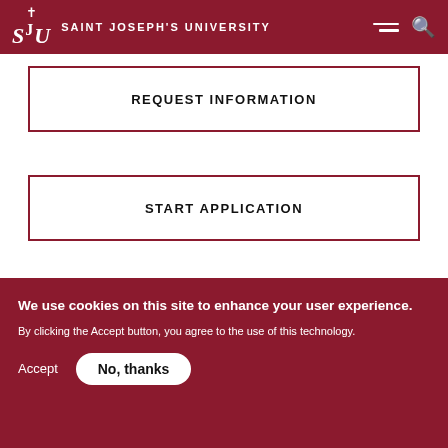SJU Saint Joseph's University
REQUEST INFORMATION
START APPLICATION
Program Snapshot
We use cookies on this site to enhance your user experience.
By clicking the Accept button, you agree to the use of this technology.
Accept   No, thanks